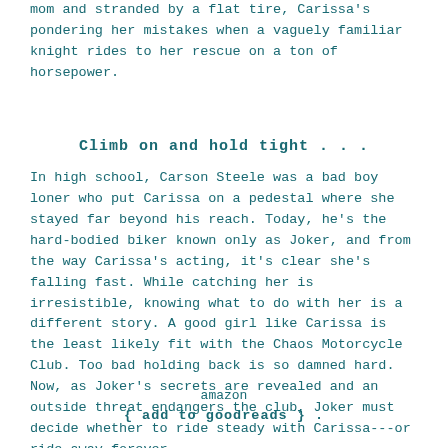mom and stranded by a flat tire, Carissa's pondering her mistakes when a vaguely familiar knight rides to her rescue on a ton of horsepower.
Climb on and hold tight . . .
In high school, Carson Steele was a bad boy loner who put Carissa on a pedestal where she stayed far beyond his reach. Today, he's the hard-bodied biker known only as Joker, and from the way Carissa's acting, it's clear she's falling fast. While catching her is irresistible, knowing what to do with her is a different story. A good girl like Carissa is the least likely fit with the Chaos Motorcycle Club. Too bad holding back is so damned hard. Now, as Joker's secrets are revealed and an outside threat endangers the club, Joker must decide whether to ride steady with Carissa---or ride away forever . . .
amazon
{ add to goodreads } .